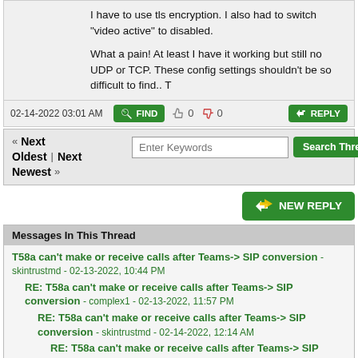I have to use tls encryption. I also had to switch "video active" to disabled.

What a pain! At least I have it working but still no UDP or TCP. These config settings shouldn't be so difficult to find.. T
02-14-2022 03:01 AM
FIND  0  0  REPLY
« Next  Oldest | Next Newest »  [Enter Keywords]  Search Thread
NEW REPLY
Messages In This Thread
T58a can't make or receive calls after Teams-> SIP conversion - skintrustmd - 02-13-2022, 10:44 PM
RE: T58a can't make or receive calls after Teams-> SIP conversion - complex1 - 02-13-2022, 11:57 PM
RE: T58a can't make or receive calls after Teams-> SIP conversion - skintrustmd - 02-14-2022, 12:14 AM
RE: T58a can't make or receive calls after Teams-> SIP conversion - complex1 - 02-14-2022, 02:48 AM